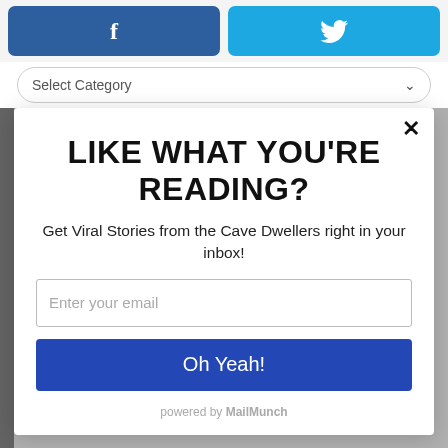[Figure (screenshot): Facebook share button (dark blue with 'f' icon)]
[Figure (screenshot): Twitter share button (light blue with bird icon)]
Select Category
LIKE WHAT YOU'RE READING?
Get Viral Stories from the Cave Dwellers right in your inbox!
Enter your email
Oh Yeah!
powered by MailMunch